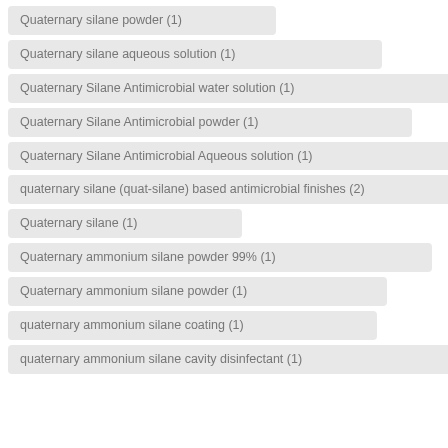Quaternary silane powder (1)
Quaternary silane aqueous solution (1)
Quaternary Silane Antimicrobial water solution (1)
Quaternary Silane Antimicrobial powder (1)
Quaternary Silane Antimicrobial Aqueous solution (1)
quaternary silane (quat-silane) based antimicrobial finishes (2)
Quaternary silane (1)
Quaternary ammonium silane powder 99% (1)
Quaternary ammonium silane powder (1)
quaternary ammonium silane coating (1)
quaternary ammonium silane cavity disinfectant (1)